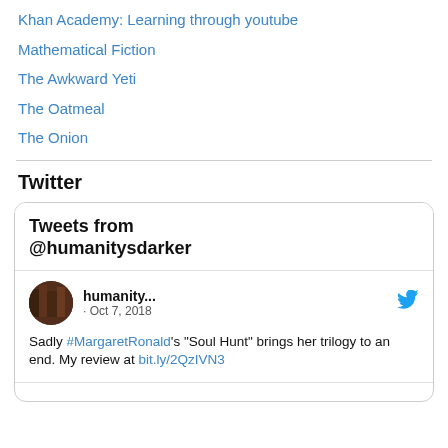Khan Academy: Learning through youtube
Mathematical Fiction
The Awkward Yeti
The Oatmeal
The Onion
Twitter
[Figure (screenshot): Embedded Twitter widget showing tweets from @humanitysdarker. Header: 'Tweets from @humanitysdarker'. Tweet by 'humanity...' on Oct 7, 2018: 'Sadly #MargaretRonald's "Soul Hunt" brings her trilogy to an end. My review at bit.ly/2QzIVN3']